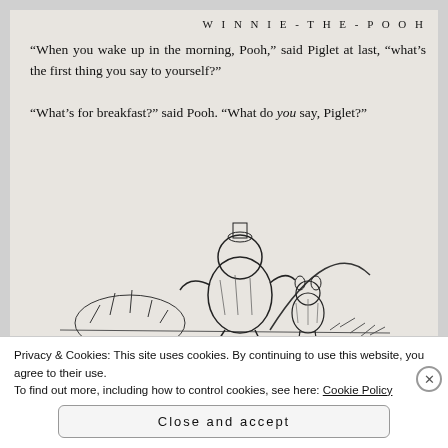WINNIE-THE-POOH
"When you wake up in the morning, Pooh," said Piglet at last, "what's the first thing you say to yourself?"
"What's for breakfast?" said Pooh. "What do you say, Piglet?"
[Figure (illustration): Pen-and-ink illustration of Winnie-the-Pooh and Piglet walking together outdoors, with bushes and a rising sun in the background.]
"I say, I wonder what's going to happen exciting
Privacy & Cookies: This site uses cookies. By continuing to use this website, you agree to their use.
To find out more, including how to control cookies, see here: Cookie Policy
Close and accept